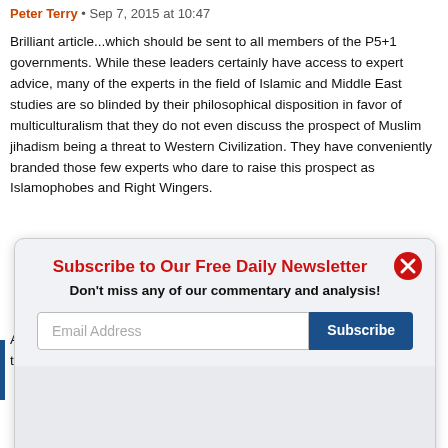Peter Terry • Sep 7, 2015 at 10:47
Brilliant article...which should be sent to all members of the P5+1 governments. While these leaders certainly have access to expert advice, many of the experts in the field of Islamic and Middle East studies are so blinded by their philosophical disposition in favor of multiculturalism that they do not even discuss the prospect of Muslim jihadism being a threat to Western Civilization. They have conveniently branded those few experts who dare to raise this prospect as Islamophobes and Right Wingers.
Additionally, while there is copious reference in the annals of Islamic tradition and law to jihad, there is no mention of
Subscribe to Our Free Daily Newsletter
Don't miss any of our commentary and analysis!
Email Address
Subscribe
Not interested